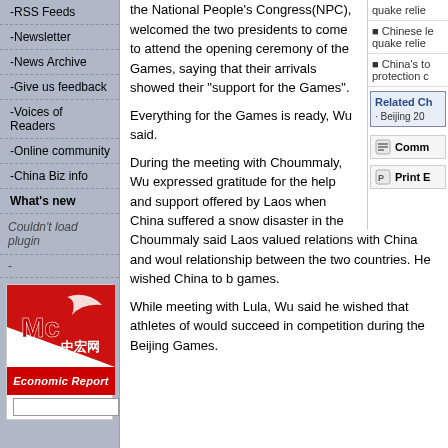-RSS Feeds
-Newsletter
-News Archive
-Give us feedback
-Voices of Readers
-Online community
-China Biz info
What's new
Couldn't load plugin
-
[Figure (logo): Macrochina Economic Report advertisement logo with red triangle and Chinese characters 中宏网]
the National People's Congress(NPC), welcomed the two presidents to come to attend the opening ceremony of the Games, saying that their arrivals showed their "support for the Games".
Everything for the Games is ready, Wu said.
During the meeting with Choummaly, Wu expressed gratitude for the help and support offered by Laos when China suffered a snow disaster in the southern areas and the May 12 strong earthquake in the southwest. He said China and Laos a partners, and the Chinese government and the NPC would wo and parliament to further bilateral ties.
Choummaly said Laos valued relations with China and woul relationship between the two countries. He wished China to b games.
While meeting with Lula, Wu said he wished that athletes of would succeed in competition during the Beijing Games.
quake relie
Chinese le quake relie
China's to protection c
Related Ch
· Beijing 20
Comm
Print E